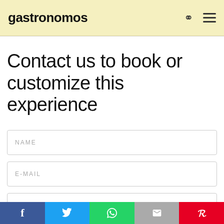gastronomos
Contact us to book or customize this experience
NAME
E-MAIL
TELEPHONE